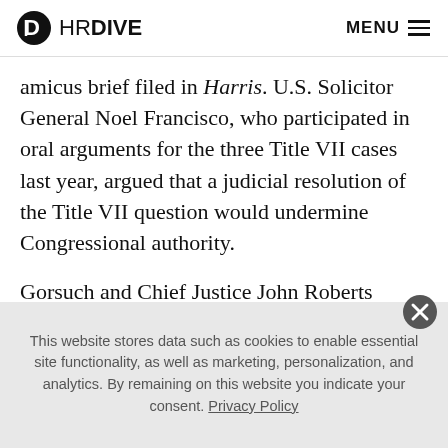HR DIVE  MENU
amicus brief filed in Harris. U.S. Solicitor General Noel Francisco, who participated in oral arguments for the three Title VII cases last year, argued that a judicial resolution of the Title VII question would undermine Congressional authority.
Gorsuch and Chief Justice John Roberts provided “crucial support” for the majority’s decision in Bostock, JoLynn Markison, partner at law firm Dorsey & Whitney,
This website stores data such as cookies to enable essential site functionality, as well as marketing, personalization, and analytics. By remaining on this website you indicate your consent. Privacy Policy